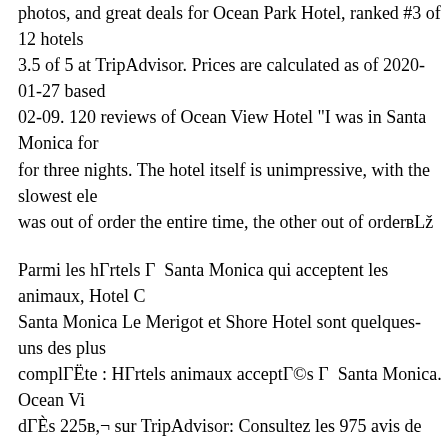photos, and great deals for Ocean Park Hotel, ranked #3 of 12 hotels 3.5 of 5 at TripAdvisor. Prices are calculated as of 2020-01-27 based 02-09. 120 reviews of Ocean View Hotel "I was in Santa Monica for for three nights. The hotel itself is unimpressive, with the slowest ele was out of order the entire time, the other out of orderвЉ
Parmi les hГrtels Г  Santa Monica qui acceptent les animaux, Hotel С Santa Monica Le Merigot et Shore Hotel sont quelques-uns des plus complГЁte : HГrtels animaux acceptГ©s Г  Santa Monica. Ocean Vi dГЁs 225в,¬ sur TripAdvisor: Consultez les 975 avis de voyageurs, offres pour Ocean View Hotel, classГ© nВ°7 sur 38 hГrtels Г  Santa TripAdvisor.
RГ©server Ocean Park Inn, Santa Monica sur TripAdvisor : consulte 324 photos, et les meilleures offres pour Ocean Park Inn, classГ© nВ Monica et notГ© 3 sur 5 sur TripAdvisor. Ocean Park Hotel This nei for travelers interested in the oceanside, road trips and skyline views 32nd Street, Santa Monica, Los Angeles, CA 90405, United States of neighborhood is a great choice for travelers interested in the oceansic